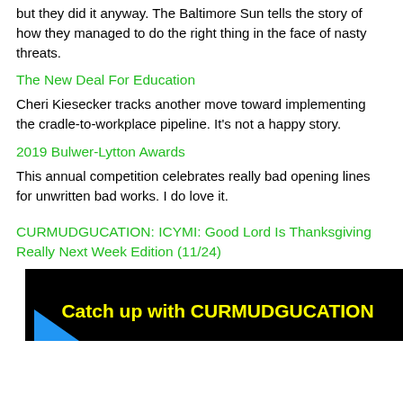but they did it anyway. The Baltimore Sun tells the story of how they managed to do the right thing in the face of nasty threats.
The New Deal For Education
Cheri Kiesecker tracks another move toward implementing the cradle-to-workplace pipeline. It's not a happy story.
2019 Bulwer-Lytton Awards
This annual competition celebrates really bad opening lines for unwritten bad works. I do love it.
CURMUDGUCATION: ICYMI: Good Lord Is Thanksgiving Really Next Week Edition (11/24)
[Figure (screenshot): Black banner image with yellow bold text reading 'Catch up with CURMUDGUCATION' and a blue triangle shape at the bottom left]